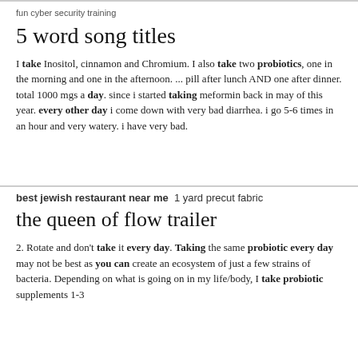fun cyber security training
5 word song titles
I take Inositol, cinnamon and Chromium. I also take two probiotics, one in the morning and one in the afternoon. ... pill after lunch AND one after dinner. total 1000 mgs a day. since i started taking meformin back in may of this year. every other day i come down with very bad diarrhea. i go 5-6 times in an hour and very watery. i have very bad.
best jewish restaurant near me  1 yard precut fabric
the queen of flow trailer
2. Rotate and don't take it every day. Taking the same probiotic every day may not be best as you can create an ecosystem of just a few strains of bacteria. Depending on what is going on in my life/body, I take probiotic supplements 1-3